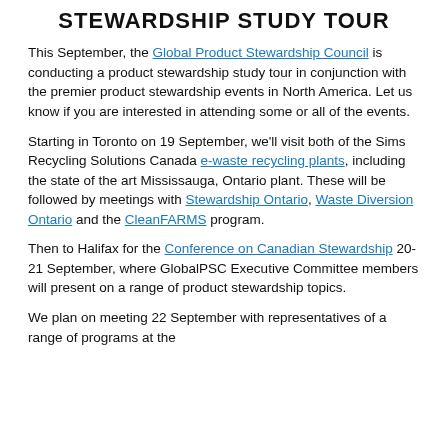STEWARDSHIP STUDY TOUR
This September, the Global Product Stewardship Council is conducting a product stewardship study tour in conjunction with the premier product stewardship events in North America. Let us know if you are interested in attending some or all of the events.
Starting in Toronto on 19 September, we'll visit both of the Sims Recycling Solutions Canada e-waste recycling plants, including the state of the art Mississauga, Ontario plant. These will be followed by meetings with Stewardship Ontario, Waste Diversion Ontario and the CleanFARMS program.
Then to Halifax for the Conference on Canadian Stewardship 20-21 September, where GlobalPSC Executive Committee members will present on a range of product stewardship topics.
We plan on meeting 22 September with representatives of a range of programs at the